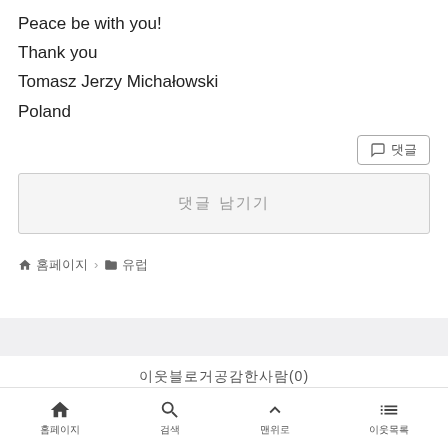Peace be with you!
Thank you
Tomasz Jerzy Michałowski
Poland
댓글
댓글 남기기
홈 홈페이지 > 카테고리 유럽
이웃블로거공감한사람(0)
홈페이지 검색 맨위로 이웃목록